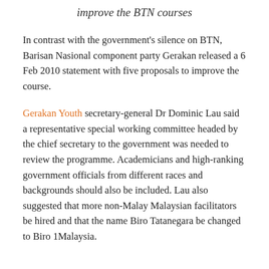improve the BTN courses
In contrast with the government's silence on BTN, Barisan Nasional component party Gerakan released a 6 Feb 2010 statement with five proposals to improve the course.
Gerakan Youth secretary-general Dr Dominic Lau said a representative special working committee headed by the chief secretary to the government was needed to review the programme. Academicians and high-ranking government officials from different races and backgrounds should also be included. Lau also suggested that more non-Malay Malaysian facilitators be hired and that the name Biro Tatanegara be changed to Biro 1Malaysia.